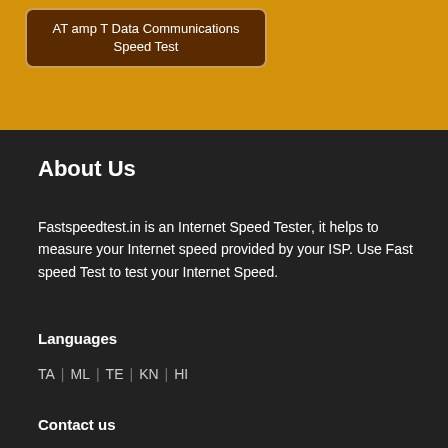[Figure (other): Orange background section with a dark brown rounded button labeled 'AT amp T Data Communications Speed Test']
About Us
Fastspeedtest.in is an Internet Speed Tester, it helps to measure your Internet speed provided by your ISP. Use Fast speed Test to test your Internet Speed.
Languages
TA | ML | TE | KN | HI
Contact us